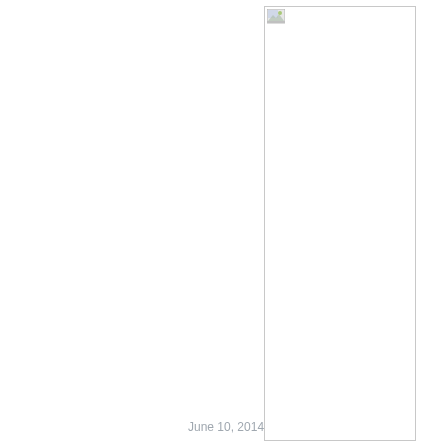[Figure (other): A tall narrow white rectangle with a light gray border, occupying the right-center portion of the page. A small broken image icon appears at the top-left corner of the rectangle.]
June 10, 2014